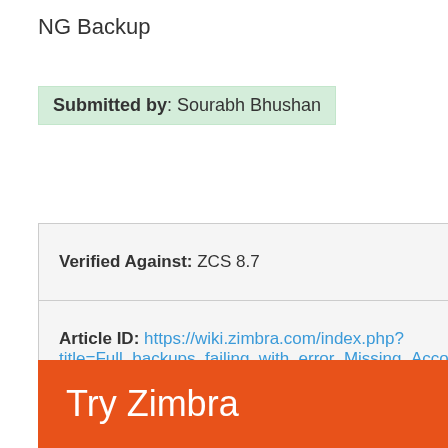NG Backup
Submitted by: Sourabh Bhushan
Verified Against: ZCS 8.7
Article ID: https://wiki.zimbra.com/index.php?title=Full_backups_failing_with_error_Missing_Account_List
Try Zimbra